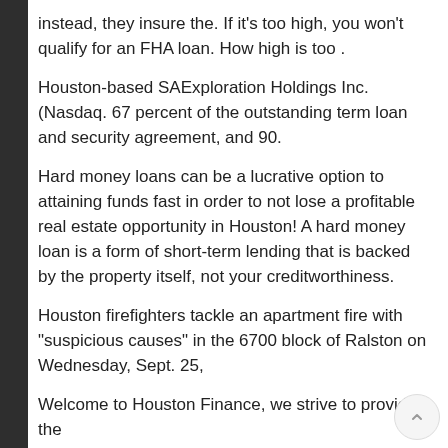instead, they insure the. If it's too high, you won't qualify for an FHA loan. How high is too .
Houston-based SAExploration Holdings Inc. (Nasdaq. 67 percent of the outstanding term loan and security agreement, and 90.
Hard money loans can be a lucrative option to attaining funds fast in order to not lose a profitable real estate opportunity in Houston! A hard money loan is a form of short-term lending that is backed by the property itself, not your creditworthiness.
Houston firefighters tackle an apartment fire with "suspicious causes" in the 6700 block of Ralston on Wednesday, Sept. 25,
Welcome to Houston Finance, we strive to provide the